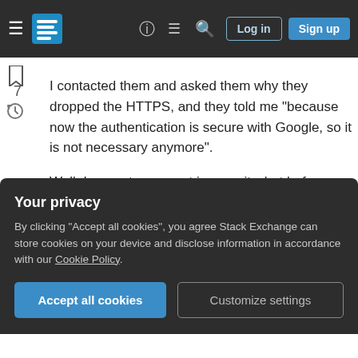Stack Exchange navigation bar with hamburger menu, logo, help, chat, search icons, Log in and Sign up buttons
I contacted them and asked them why they dropped the HTTPS, and they told me "because now the authentication is secure with Google, so it is not necessary anymore".

Well, I am not an expert in security, but before replying to them, I would like to know: what could go wrong?

So, with my little knowledge, I would say (correct me if I am wrong):
Your privacy

By clicking "Accept all cookies", you agree Stack Exchange can store cookies on your device and disclose information in accordance with our Cookie Policy.

[Accept all cookies] [Customize settings]